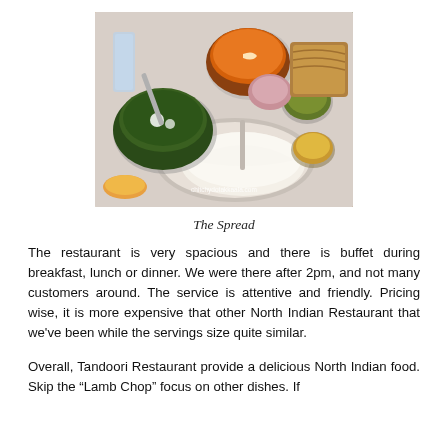[Figure (photo): A spread of Indian food dishes on a table, including orange curry, spinach/palak dish, basmati rice, chutneys, and various sides in metal bowls and plates. Watermark reads chitchydotakkaala.com]
The Spread
The restaurant is very spacious and there is buffet during breakfast, lunch or dinner. We were there after 2pm, and not many customers around. The service is attentive and friendly. Pricing wise, it is more expensive that other North Indian Restaurant that we've been while the servings size quite similar.
Overall, Tandoori Restaurant provide a delicious North Indian food. Skip the “Lamb Chop” focus on other dishes. If